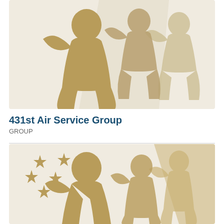[Figure (illustration): Silhouettes of soldiers saluting against a tan/khaki background with lighter overlapping figures]
431st Air Service Group
GROUP
[Figure (illustration): Silhouettes of soldiers saluting with gold stars in the upper left on a cream background, with a darker diagonal stripe on the right]